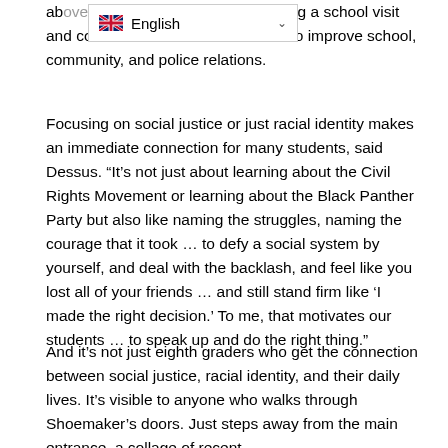ab... to hosting a school visit and co...rsation with local officers to improve school, community, and police relations.
[Figure (screenshot): Browser translation bar showing English language selector with UK flag and dropdown chevron]
Focusing on social justice or just racial identity makes an immediate connection for many students, said Dessus. “It’s not just about learning about the Civil Rights Movement or learning about the Black Panther Party but also like naming the struggles, naming the courage that it took … to defy a social system by yourself, and deal with the backlash, and feel like you lost all of your friends … and still stand firm like ‘I made the right decision.’ To me, that motivates our students … to speak up and do the right thing.”
And it’s not just eighth graders who get the connection between social justice, racial identity, and their daily lives. It’s visible to anyone who walks through Shoemaker’s doors. Just steps away from the main entrance, a collage of recent...